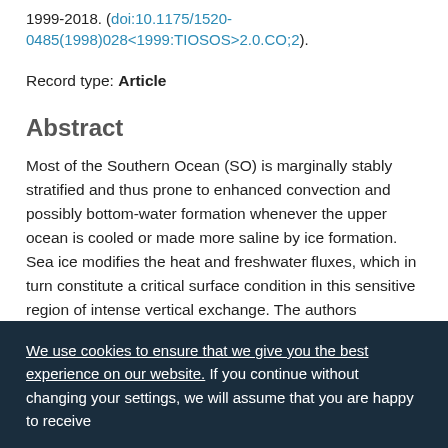1999-2018. (doi:10.1175/1520-0485(1998)028<1999:TIOSOS>2.0.CO;2).
Record type: Article
Abstract
Most of the Southern Ocean (SO) is marginally stably stratified and thus prone to enhanced convection and possibly bottom-water formation whenever the upper ocean is cooled or made more saline by ice formation. Sea ice modifies the heat and freshwater fluxes, which in turn constitute a critical surface condition in this sensitive region of intense vertical exchange. The authors investigate the effect of SO sea ice in modifying these fluxes in a global, coarse-resolution, primitive
We use cookies to ensure that we give you the best experience on our website. If you continue without changing your settings, we will assume that you are happy to receive